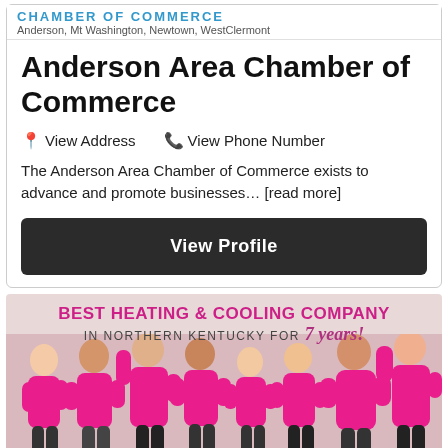CHAMBER OF COMMERCE — Anderson, Mt Washington, Newtown, WestClermont
Anderson Area Chamber of Commerce
View Address   View Phone Number
The Anderson Area Chamber of Commerce exists to advance and promote businesses… [read more]
View Profile
[Figure (photo): Advertisement banner for Best Heating & Cooling Company in Northern Kentucky for 7 years, showing a group of 8 staff members wearing pink polo shirts posing together on a pink-toned background.]